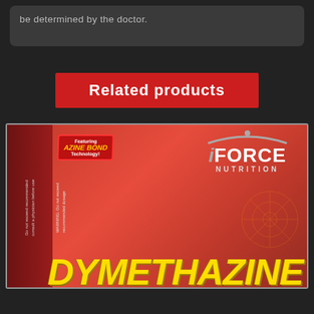be determined by the doctor.
Related products
[Figure (photo): Product box of iForce Nutrition DYMETHAZINE supplement featuring Azine Bond Technology. Red box with yellow large text reading DYMETHAZINE at bottom, iForce Nutrition logo at top right, and an Azine Bond Technology badge at top left.]